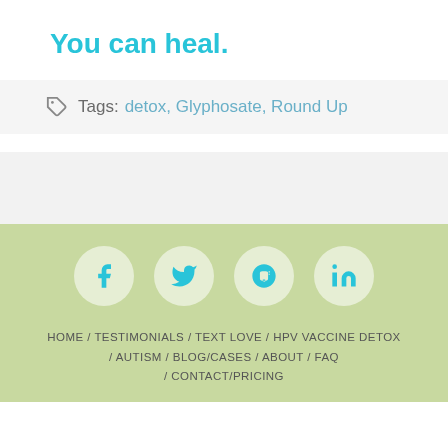You can heal.
Tags: detox, Glyphosate, Round Up
HOME / TESTIMONIALS / TEXT LOVE / HPV VACCINE DETOX / AUTISM / BLOG/CASES / ABOUT / FAQ / CONTACT/PRICING